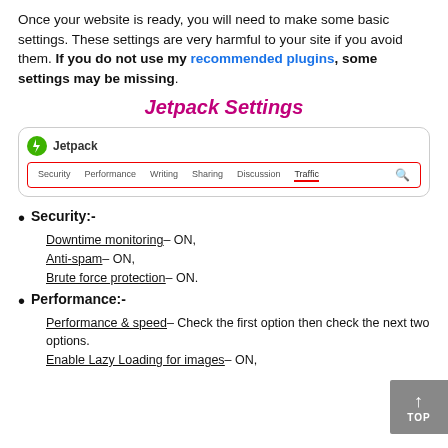Once your website is ready, you will need to make some basic settings. These settings are very harmful to your site if you avoid them. If you do not use my recommended plugins, some settings may be missing.
Jetpack Settings
[Figure (screenshot): Screenshot of the Jetpack plugin settings navigation bar showing tabs: Security, Performance, Writing, Sharing, Discussion, Traffic. Traffic tab is underlined/active. Red bordered outline around the nav bar. Jetpack logo (green circle with lightning bolt) in header.]
Security:-
1. Downtime monitoring– ON,
2. Anti-spam– ON,
3. Brute force protection– ON.
Performance:-
1. Performance & speed– Check the first option then check the next two options.
2. Enable Lazy Loading for images– ON,